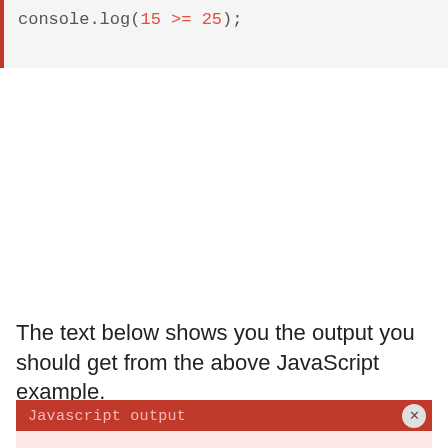console.log(15 >= 25);
The text below shows you the output you should get from the above JavaScript example.
Javascript output